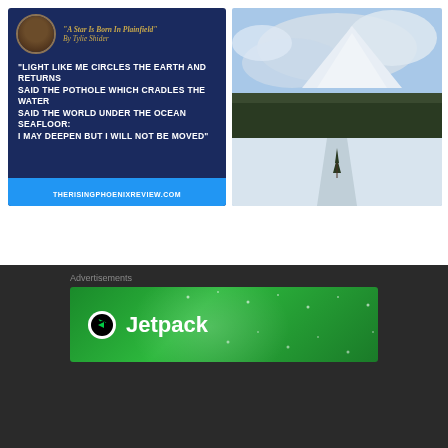[Figure (illustration): Dark blue poem card with author avatar, title 'A STAR IS BORN IN PLAINFIELD' by Tylie Shider, quote about light and the earth, and website URL therisingphoenixreview.com at bottom]
[Figure (photo): Mountain landscape photo with snow-covered peak, evergreen trees, and overcast sky]
Advertisements
[Figure (other): Jetpack advertisement banner on green background with Jetpack logo and text]
Advertisements
[Figure (other): MAC Cosmetics advertisement banner showing lipsticks, MAC logo, and SHOP NOW button]